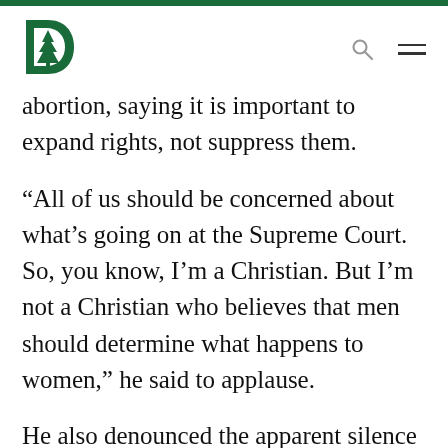[Figure (logo): Dartmouth College green pine tree logo]
abortion, saying it is important to expand rights, not suppress them.
“All of us should be concerned about what’s going on at the Supreme Court. So, you know, I’m a Christian. But I’m not a Christian who believes that men should determine what happens to women,” he said to applause.
He also denounced the apparent silence of